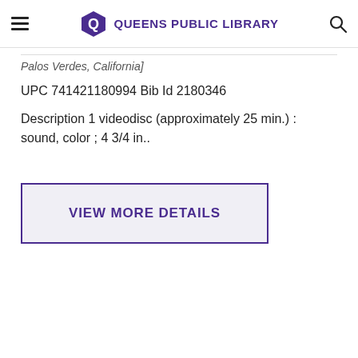Queens Public Library
Palos Verdes, California]
UPC 741421180994 Bib Id 2180346
Description 1 videodisc (approximately 25 min.) : sound, color ; 4 3/4 in..
VIEW MORE DETAILS